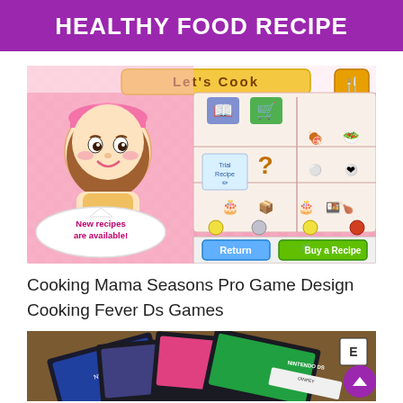HEALTHY FOOD RECIPE
[Figure (screenshot): Screenshot of Cooking Mama Seasons Pro game showing the recipe selection screen with a cartoon character, 'Let's Cook' banner, Trial Recipe option, mystery recipe, various food items, Return and Buy a Recipe buttons, and 'New recipes are available!' speech bubble.]
Cooking Mama Seasons Pro Game Design Cooking Fever Ds Games
[Figure (photo): Photo of Nintendo DS game cartridges stacked on a surface, including what appears to be Cooking Mama game cartridge.]